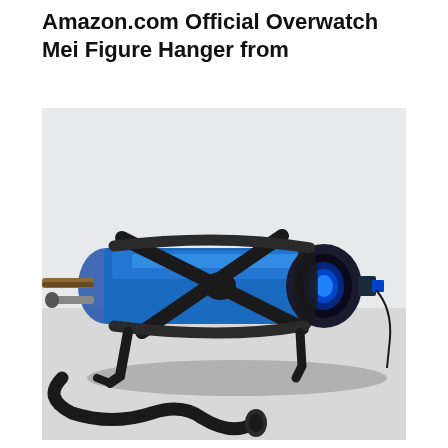Amazon.com Official Overwatch Mei Figure Hanger from
[Figure (photo): A blue cylindrical prop/figure piece (resembling Mei's cryo-canister from Overwatch) with black straps crossing over it in an X pattern. The cylinder has a dark end cap on the right with a glowing blue interior visible, and tubes/hoses extending from the left end. A black coiled hose hangs below. The object rests on a light gray surface.]